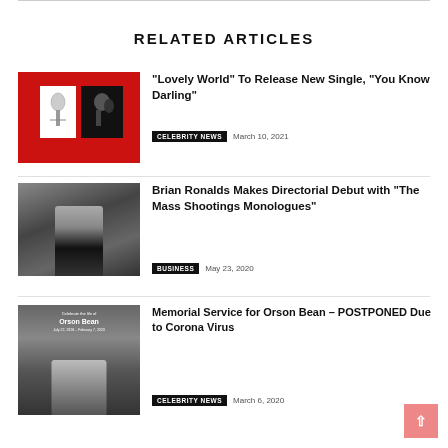RELATED ARTICLES
[Figure (photo): Red album cover with two small square photos — one showing a white flower on white background, another showing a dark silhouette on black background]
“Lovely World” To Release New Single, “You Know Darling”
CELEBRITY NEWS   March 10, 2021
[Figure (photo): Black and white photo of a young man in a black t-shirt, seated, with blurred background]
Brian Ronalds Makes Directorial Debut with “The Mass Shootings Monologues”
BUSINESS   May 23, 2020
[Figure (photo): Memorial service announcement for Orson Bean showing text 'Celebrate the life of Orson Bean July 22, 1928 – February 7, 2020' with an elderly man visible below]
Memorial Service for Orson Bean – POSTPONED Due to Corona Virus
CELEBRITY NEWS   March 6, 2020